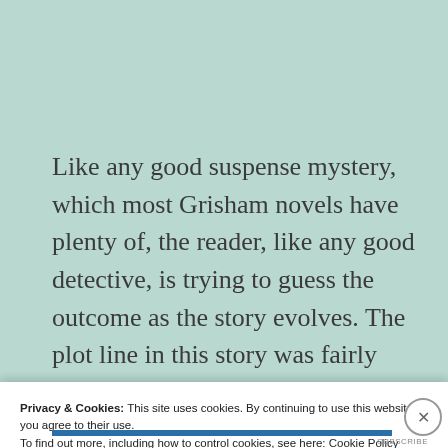Like any good suspense mystery, which most Grisham novels have plenty of, the reader, like any good detective, is trying to guess the outcome as the story evolves. The plot line in this story was fairly straight forward and did not have several seemingly unrelated plots
Privacy & Cookies: This site uses cookies. By continuing to use this website, you agree to their use.
To find out more, including how to control cookies, see here: Cookie Policy
Close and accept